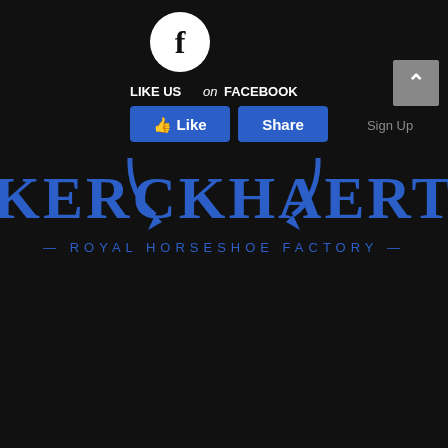[Figure (logo): Kerckhaert Royal Horseshoe Factory logo: circular emblem with double-K monogram and crown above, horseshoe-arc shape at bottom, on dark background. Company name KERCKHAERT in large blue serif letters, tagline — ROYAL HORSESHOE FACTORY — in blue spaced caps below.]
[Figure (illustration): Facebook social widget: circular white icon with lowercase 'f', text 'LIKE US on FACEBOOK', two blue buttons labeled 'Like' and 'Share', and a 'Sign Up' text link at right.]